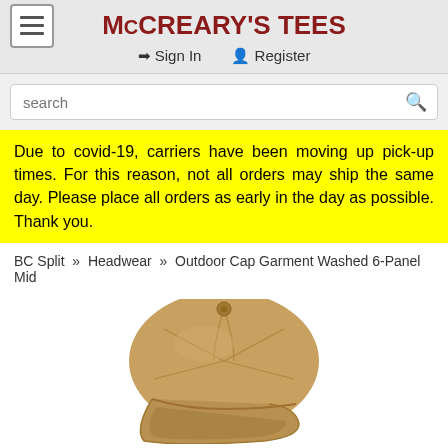McCREARY'S TEES
Sign In   Register
search
Due to covid-19, carriers have been moving up pick-up times. For this reason, not all orders may ship the same day. Please place all orders as early in the day as possible. Thank you.
BC Split » Headwear » Outdoor Cap Garment Washed 6-Panel Mid
[Figure (photo): Tan/khaki colored 6-panel baseball cap photographed from above at an angle, showing the top and brim of the cap]